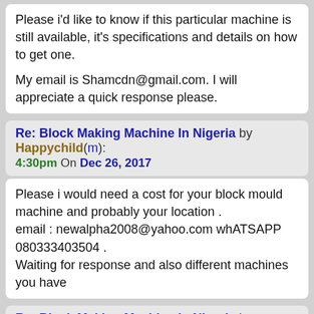Please i'd like to know if this particular machine is still available, it's specifications and details on how to get one.

My email is Shamcdn@gmail.com. I will appreciate a quick response please.
Re: Block Making Machine In Nigeria by Happychild(m): 4:30pm On Dec 26, 2017
Please i would need a cost for your block mould machine and probably your location .
email : newalpha2008@yahoo.com whATSAPP 080333403504 .
Waiting for response and also different machines you have
Re: Block Making Machine In Nigeria by Yashinbor: 12:20pm On Nov 22, 2021
Can I talk with someone related to block making machine please? We are from Spain, we know about block making machine suppliers in Spain ( [url]https://www.concrete-